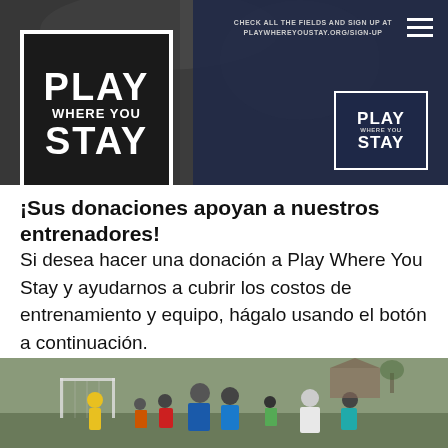[Figure (photo): Header banner with Play Where You Stay logo on dark background with soccer photo]
¡Sus donaciones apoyan a nuestros entrenadores!
Si desea hacer una donación a Play Where You Stay y ayudarnos a cubrir los costos de entrenamiento y equipo, hágalo usando el botón a continuación.
[Figure (photo): Group of children and coaches gathered on a soccer field outdoors]